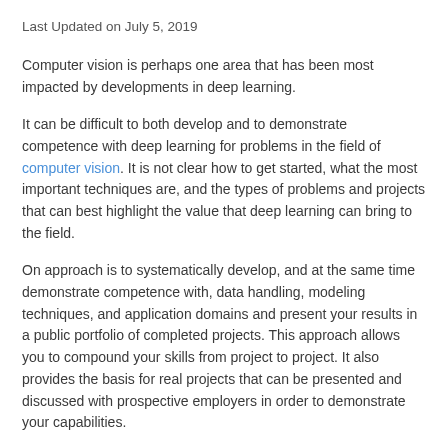Last Updated on July 5, 2019
Computer vision is perhaps one area that has been most impacted by developments in deep learning.
It can be difficult to both develop and to demonstrate competence with deep learning for problems in the field of computer vision. It is not clear how to get started, what the most important techniques are, and the types of problems and projects that can best highlight the value that deep learning can bring to the field.
On approach is to systematically develop, and at the same time demonstrate competence with, data handling, modeling techniques, and application domains and present your results in a public portfolio of completed projects. This approach allows you to compound your skills from project to project. It also provides the basis for real projects that can be presented and discussed with prospective employers in order to demonstrate your capabilities.